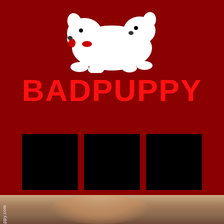[Figure (logo): Badpuppy logo featuring a white cartoon dog illustration on dark red background]
BADPUPPY
[Figure (photo): Three black thumbnail image placeholders in a row on dark red background]
[Figure (photo): Photo of a person (upper body, short hair) with watermark text 'badpuppy.com' on left side, indoor setting with wooden furniture]